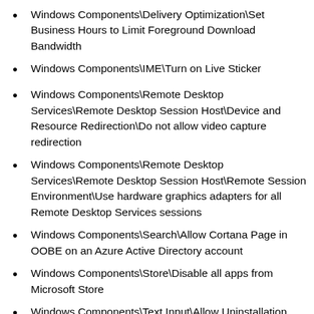Windows Components\Delivery Optimization\Set Business Hours to Limit Foreground Download Bandwidth
Windows Components\IME\Turn on Live Sticker
Windows Components\Remote Desktop Services\Remote Desktop Session Host\Device and Resource Redirection\Do not allow video capture redirection
Windows Components\Remote Desktop Services\Remote Desktop Session Host\Remote Session Environment\Use hardware graphics adapters for all Remote Desktop Services sessions
Windows Components\Search\Allow Cortana Page in OOBE on an Azure Active Directory account
Windows Components\Store\Disable all apps from Microsoft Store
Windows Components\Text Input\Allow Uninstallation